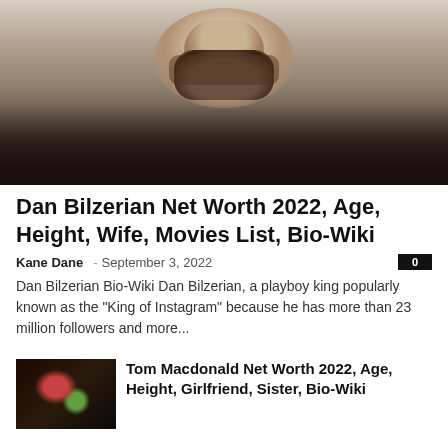[Figure (photo): Portrait photo of Dan Bilzerian, a bearded man in a black shirt against a light background]
Dan Bilzerian Net Worth 2022, Age, Height, Wife, Movies List, Bio-Wiki
Kane Dane – September 3, 2022   0
Dan Bilzerian Bio-Wiki Dan Bilzerian, a playboy king popularly known as the "King of Instagram" because he has more than 23 million followers and more...
[Figure (photo): Small thumbnail photo with dark background showing colorful subject]
Tom Macdonald Net Worth 2022, Age, Height, Girlfriend, Sister, Bio-Wiki